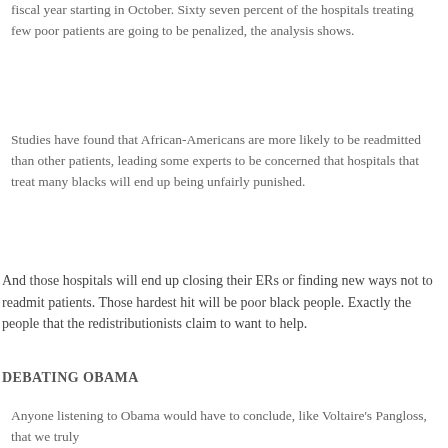fiscal year starting in October. Sixty seven percent of the hospitals treating few poor patients are going to be penalized, the analysis shows.
Studies have found that African-Americans are more likely to be readmitted than other patients, leading some experts to be concerned that hospitals that treat many blacks will end up being unfairly punished.
And those hospitals will end up closing their ERs or finding new ways not to readmit patients. Those hardest hit will be poor black people. Exactly the people that the redistributionists claim to want to help.
DEBATING OBAMA
Anyone listening to Obama would have to conclude, like Voltaire's Pangloss, that we truly